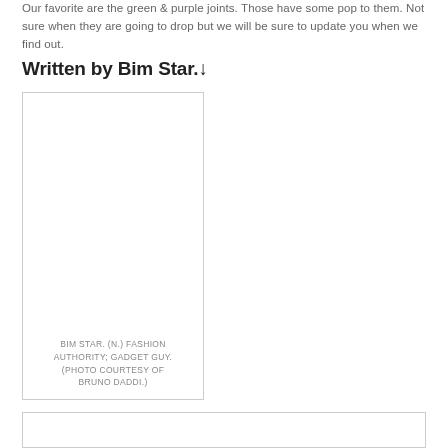Our favorite are the green & purple joints. Those have some pop to them. Not sure when they are going to drop but we will be sure to update you when we find out.
Written by Bim Star.↓
[Figure (photo): Author photo placeholder box with caption: BIM STAR. (N.) FASHION AUTHORITY; GADGET GUY. (PHOTO COURTESY OF BRUNO DADDI.)]
BIM STAR. (N.) FASHION AUTHORITY; GADGET GUY. (PHOTO COURTESY OF BRUNO DADDI.)